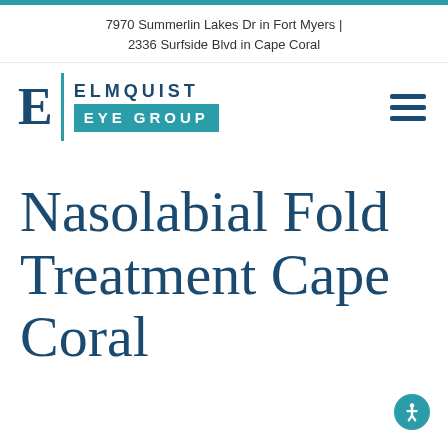7970 Summerlin Lakes Dr in Fort Myers | 2336 Surfside Blvd in Cape Coral
[Figure (logo): Elmquist Eye Group logo with stylized E, teal vertical divider, ELMQUIST in bold navy uppercase, and EYE GROUP in white on teal background]
Nasolabial Fold Treatment Cape Coral